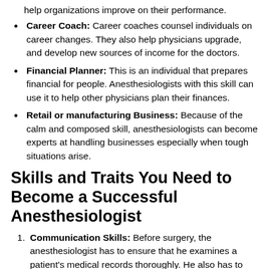Career Coach: Career coaches counsel individuals on career changes. They also help physicians upgrade, and develop new sources of income for the doctors.
Financial Planner: This is an individual that prepares financial for people. Anesthesiologists with this skill can use it to help other physicians plan their finances.
Retail or manufacturing Business: Because of the calm and composed skill, anesthesiologists can become experts at handling businesses especially when tough situations arise.
Skills and Traits You Need to Become a Successful Anesthesiologist
Communication Skills: Before surgery, the anesthesiologist has to ensure that he examines a patient's medical records thoroughly. He also has to ask the patient certain questions explain his role in the medical procedures in a clear and concise manner, disclose any risk that might be involved, and calm any